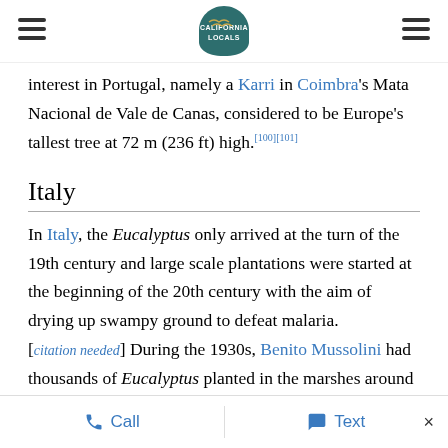California Locals logo with hamburger menus
interest in Portugal, namely a Karri in Coimbra's Mata Nacional de Vale de Canas, considered to be Europe's tallest tree at 72 m (236 ft) high.[100][101]
Italy
In Italy, the Eucalyptus only arrived at the turn of the 19th century and large scale plantations were started at the beginning of the 20th century with the aim of drying up swampy ground to defeat malaria. [citation needed] During the 1930s, Benito Mussolini had thousands of Eucalyptus planted in the marshes around Rome.[102] This, their rapid growth in the Italian
Call   Text   ×